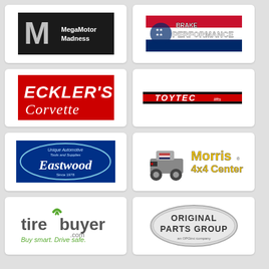[Figure (logo): MegaMotor Madness logo - black background with large chrome M and white text]
[Figure (logo): Brake Performance logo - American flag themed with red white and blue]
[Figure (logo): Eckler's Corvette logo - red background with cursive white text]
[Figure (logo): Toytec logo - red and black horizontal banner with white italic text]
[Figure (logo): Eastwood logo - blue oval with cursive white text, Unique Automotive Tools and Supplies]
[Figure (logo): Morris 4x4 Center logo - Jeep illustration with yellow text on white background]
[Figure (logo): tirebuyer.com logo - green and grey text, Buy smart. Drive safe.]
[Figure (logo): Original Parts Group logo - grey oval badge with dark text]